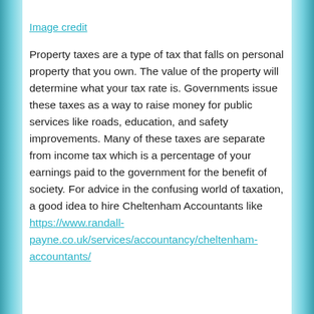Image credit
Property taxes are a type of tax that falls on personal property that you own. The value of the property will determine what your tax rate is. Governments issue these taxes as a way to raise money for public services like roads, education, and safety improvements. Many of these taxes are separate from income tax which is a percentage of your earnings paid to the government for the benefit of society. For advice in the confusing world of taxation, a good idea to hire Cheltenham Accountants like https://www.randall-payne.co.uk/services/accountancy/cheltenham-accountants/